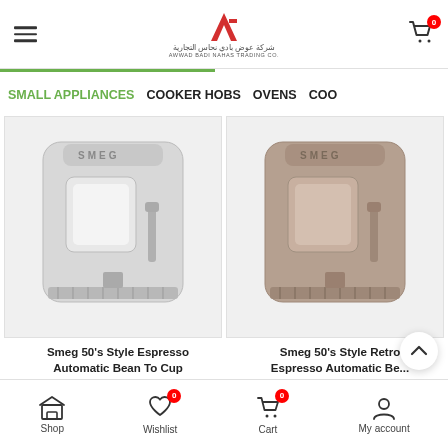Awwad Badi Nahas Trading Co. — Header with logo, menu, and cart
SMALL APPLIANCES | COOKER HOBS | OVENS | COO...
[Figure (photo): Smeg 50's Style Espresso Automatic Bean To Cup machine in silver/white color]
Smeg 50's Style Espresso Automatic Bean To Cup
4,554.00 SAR
[Figure (photo): Smeg 50's Style Retro Espresso Automatic Bean To Cup machine in taupe/brown color]
Smeg 50's Style Retro Espresso Automatic Be...
4,554.00 SAR
Shop | Wishlist (0) | Cart (0) | My account